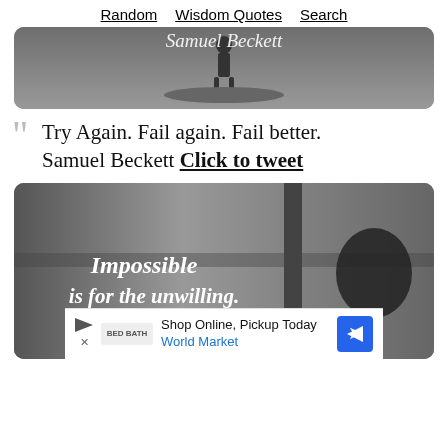Random   Wisdom Quotes   Search
[Figure (photo): Grayscale image of a person standing on a rocky hilltop, with script text 'Samuel Beckett' overlaid]
“Try Again. Fail again. Fail better. Samuel Beckett Click to tweet
[Figure (photo): Grayscale image of a person looking out a window, with handwritten text 'Impossible is for the unwilling. John Keats' overlaid]
Shop Online, Pickup Today World Market